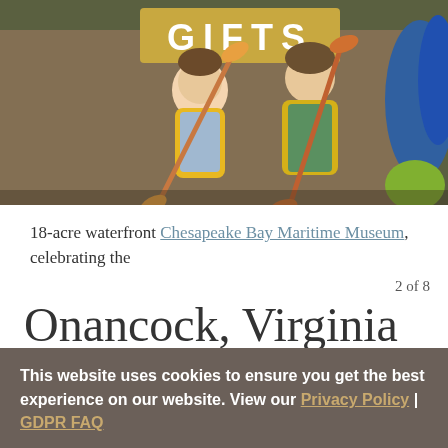[Figure (photo): Two women in yellow life vests holding kayak paddles, smiling, standing in front of a wooden building with a GIFTS sign. Blue and green kayaks visible on the right side.]
18-acre waterfront Chesapeake Bay Maritime Museum, celebrating the
2 of 8
Onancock, Virginia
This website uses cookies to ensure you get the best experience on our website. View our Privacy Policy | GDPR FAQ